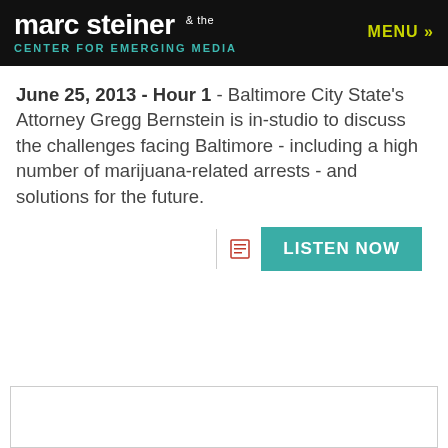marc steiner & the CENTER FOR EMERGING MEDIA | MENU »
June 25, 2013 - Hour 1 - Baltimore City State's Attorney Gregg Bernstein is in-studio to discuss the challenges facing Baltimore - including a high number of marijuana-related arrests - and solutions for the future.
[Figure (other): LISTEN NOW button with vertical divider and list icon]
[Figure (other): Empty white box with gray border at bottom of page]